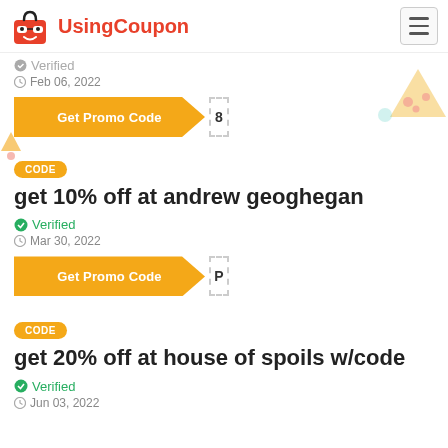UsingCoupon
Verified
Feb 06, 2022
Get Promo Code  8
CODE
get 10% off at andrew geoghegan
Verified
Mar 30, 2022
Get Promo Code  P
CODE
get 20% off at house of spoils w/code
Verified
Jun 03, 2022